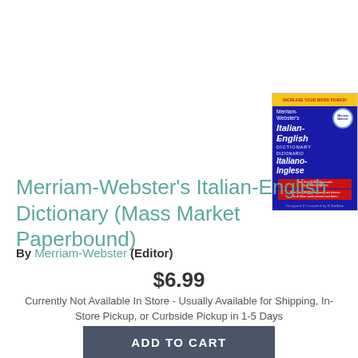[Figure (photo): Book cover of Merriam-Webster's Italian-English Dictionary (Mass Market Paperbound). Dark blue cover with yellow top bar reading 'INCREASE YOUR WORD POWER!', white circular Merriam-Webster logo, title text in white and italic, red information box, and Collins logo at bottom.]
Merriam-Webster's Italian-English Dictionary (Mass Market Paperbound)
By Merriam-Webster (Editor)
$6.99
Currently Not Available In Store - Usually Available for Shipping, In-Store Pickup, or Curbside Pickup in 1-5 Days
ADD TO CART